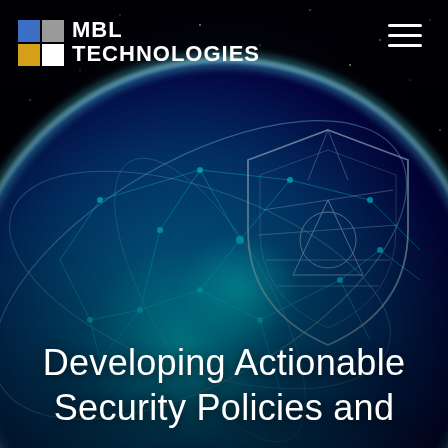[Figure (illustration): Dark space background with a glowing blue Earth globe, orbital rings around it, and a translucent cybersecurity shield overlay with network connection nodes and lines on the globe surface.]
MBL TECHNOLOGIES
Developing Actionable Security Policies and